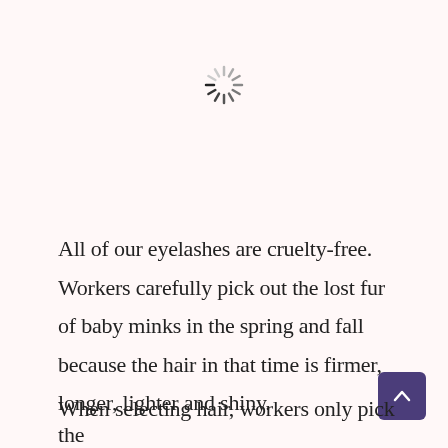[Figure (other): A loading spinner icon — circular arrangement of short radial lines in varying shades of gray, resembling a clock with spokes, indicating a loading/spinning state.]
All of our eyelashes are cruelty-free. Workers carefully pick out the lost fur of baby minks in the spring and fall because the hair in that time is firmer, longer, lighter and shiny.
When selecting hair, workers only pick the